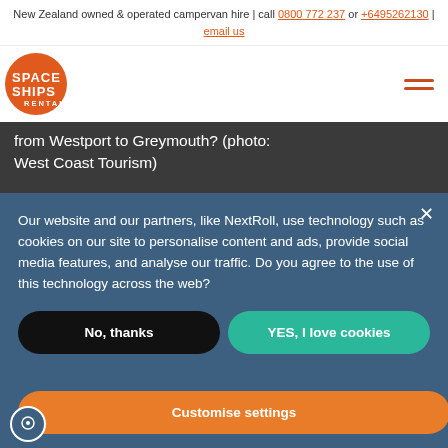New Zealand owned & operated campervan hire | call 0800 772 237 or +6495262130 | email us
[Figure (logo): Spaceships Rentals logo — orange circle with white text SPACESHIPS RENTALS]
from Westport to Greymouth? (photo: West Coast Tourism)
Our website and our partners, like NextRoll, use technology such as cookies on our site to personalise content and ads, provide social media features, and analyse our traffic. Do you agree to the use of this technology across the web?
No, thanks
YES, I love cookies
Customise settings